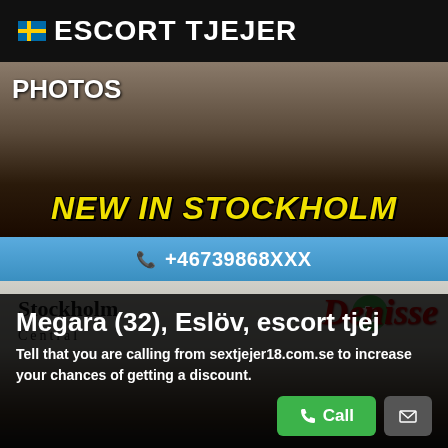ESCORT TJEJER
[Figure (photo): Banner with partial photo, text PHOTOS and NEW IN STOCKHOLM in yellow italic bold text]
+46739868XXX
[Figure (photo): Profile listing image with Stockholm Central and Denisse text overlay, person lying on sofa]
Megara (32), Eslöv, escort tjej
Tell that you are calling from sextjejer18.com.se to increase your chances of getting a discount.